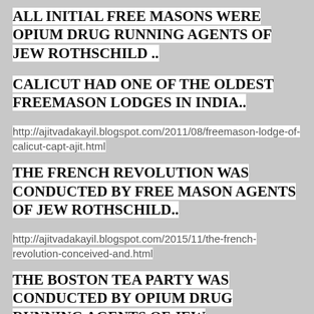ALL INITIAL FREE MASONS WERE OPIUM DRUG RUNNING AGENTS OF JEW ROTHSCHILD ..
CALICUT HAD ONE OF THE OLDEST FREEMASON LODGES IN INDIA..
http://ajitvadakayil.blogspot.com/2011/08/freemason-lodge-of-calicut-capt-ajit.html
THE FRENCH REVOLUTION WAS CONDUCTED BY FREE MASON AGENTS OF JEW ROTHSCHILD..
http://ajitvadakayil.blogspot.com/2015/11/the-french-revolution-conceived-and.html
THE BOSTON TEA PARTY WAS CONDUCTED BY OPIUM DRUG RUNNING AGENTS OF JEW ROTHSCHILD..TODAY THEIR DESCENDANTS ARE PART OF THE DEEP STATE